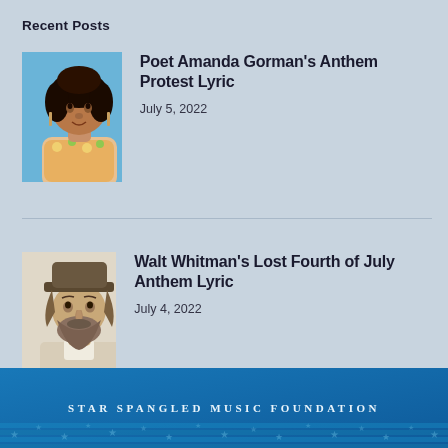Recent Posts
[Figure (photo): Portrait photo of poet Amanda Gorman against a blue sky background]
Poet Amanda Gorman's Anthem Protest Lyric
July 5, 2022
[Figure (photo): Sketch/illustration portrait of Walt Whitman wearing a hat]
Walt Whitman's Lost Fourth of July Anthem Lyric
July 4, 2022
[Figure (logo): Star Spangled Music Foundation banner with blue background, stars pattern, and text in small caps]